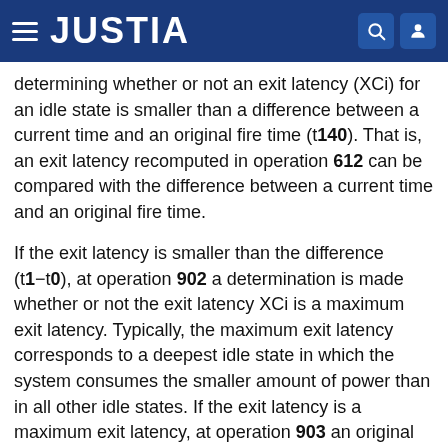JUSTIA
determining whether or not an exit latency (XCi) for an idle state is smaller than a difference between a current time and an original fire time (t140). That is, an exit latency recomputed in operation 612 can be compared with the difference between a current time and an original fire time.
If the exit latency is smaller than the difference (t1−t0), at operation 902 a determination is made whether or not the exit latency XCi is a maximum exit latency. Typically, the maximum exit latency corresponds to a deepest idle state in which the system consumes the smaller amount of power than in all other idle states. If the exit latency is a maximum exit latency, at operation 903 an original fire time is adjusted to a statistically derived latency, as described above.